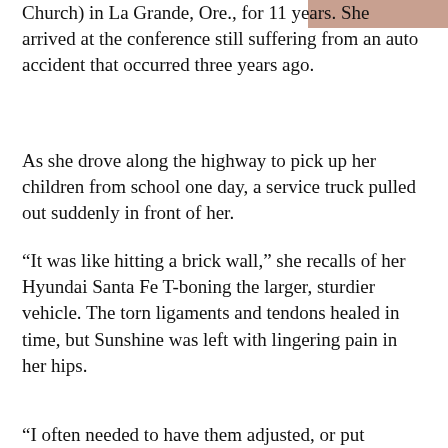[Figure (photo): Partial photo of a person visible in the top right corner]
Church) in La Grande, Ore., for 11 years. She arrived at the conference still suffering from an auto accident that occurred three years ago.
As she drove along the highway to pick up her children from school one day, a service truck pulled out suddenly in front of her.
“It was like hitting a brick wall,” she recalls of her Hyundai Santa Fe T-boning the larger, sturdier vehicle. The torn ligaments and tendons healed in time, but Sunshine was left with lingering pain in her hips.
“I often needed to have them adjusted, or put